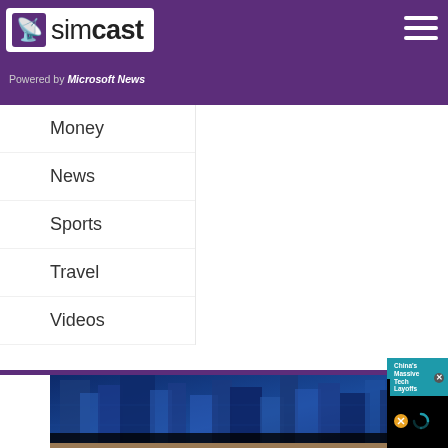[Figure (screenshot): Simcast logo with antenna icon on white background]
Powered by Microsoft News
[Figure (screenshot): Hamburger menu icon (three horizontal white bars on purple background)]
Money
News
Sports
Travel
Videos
[Figure (screenshot): Video popup showing 'China's Massive Tech Layoffs' with black video area, mute button (orange circle with slash), teal loading spinner, and close X button]
[Figure (screenshot): Cookie consent banner: 'This we...' with 'We use them to give you the be... will assume that you are...' and a 'Co...' button]
[Figure (photo): Blue city buildings at night from aerial view]
Your Market Brief News Update on 08/30/2022
[Figure (photo): Person's head/shoulders visible at bottom of page]